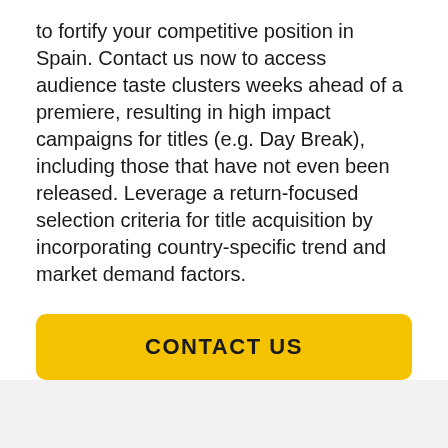to fortify your competitive position in Spain. Contact us now to access audience taste clusters weeks ahead of a premiere, resulting in high impact campaigns for titles (e.g. Day Break), including those that have not even been released. Leverage a return-focused selection criteria for title acquisition by incorporating country-specific trend and market demand factors.
CONTACT US
How popular is Day Break around the world?
On TV media...